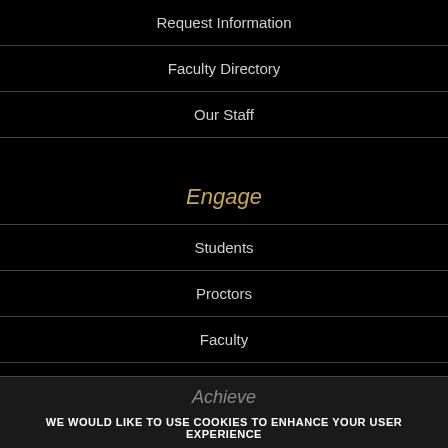Request Information
Faculty Directory
Our Staff
Engage
Students
Proctors
Faculty
Alumni
Partners
Achieve
WE WOULD LIKE TO USE COOKIES TO ENHANCE YOUR USER EXPERIENCE